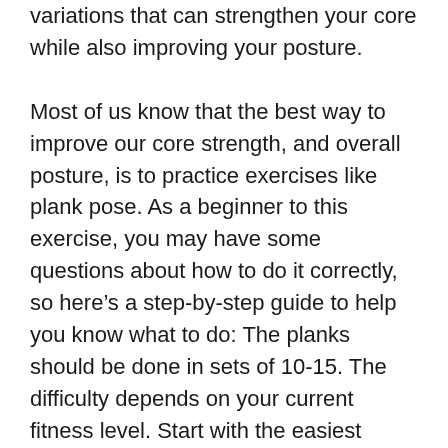variations that can strengthen your core while also improving your posture.
Most of us know that the best way to improve our core strength, and overall posture, is to practice exercises like plank pose. As a beginner to this exercise, you may have some questions about how to do it correctly, so here’s a step-by-step guide to help you know what to do: The planks should be done in sets of 10-15. The difficulty depends on your current fitness level. Start with the easiest variation of the plank you can do, and work your way up to the harder variations.
Plank is one of the most basic and difficult poses to master. It is the position that most